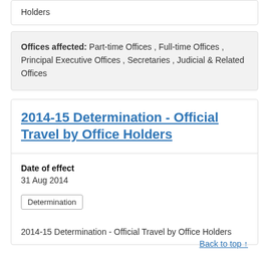Holders
Offices affected: Part-time Offices , Full-time Offices , Principal Executive Offices , Secretaries , Judicial & Related Offices
2014-15 Determination - Official Travel by Office Holders
Date of effect
31 Aug 2014
Determination
2014-15 Determination - Official Travel by Office Holders
Back to top ↑